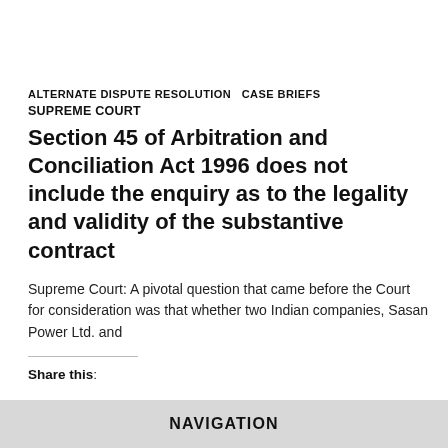ALTERNATE DISPUTE RESOLUTION  CASE BRIEFS
SUPREME COURT
Section 45 of Arbitration and Conciliation Act 1996 does not include the enquiry as to the legality and validity of the substantive contract
Supreme Court: A pivotal question that came before the Court for consideration was that whether two Indian companies, Sasan Power Ltd. and
Share this:
NAVIGATION